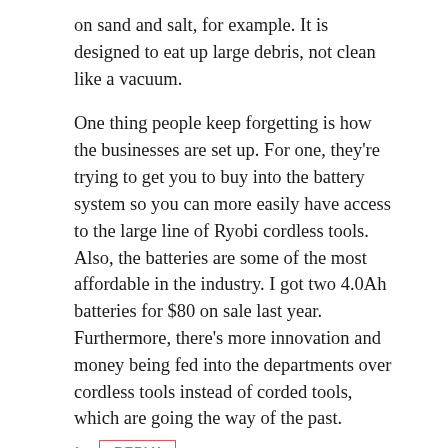on sand and salt, for example. It is designed to eat up large debris, not clean like a vacuum.
One thing people keep forgetting is how the businesses are set up. For one, they're trying to get you to buy into the battery system so you can more easily have access to the large line of Ryobi cordless tools. Also, the batteries are some of the most affordable in the industry. I got two 4.0Ah batteries for $80 on sale last year.
Furthermore, there's more innovation and money being fed into the departments over cordless tools instead of corded tools, which are going the way of the past.
REPLY
John804
Feb 2, 2018
Thanks for the information. The salty sandstorm will